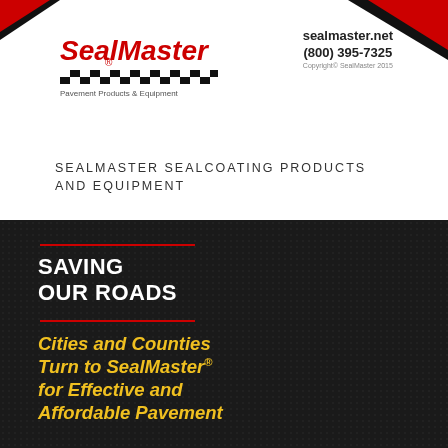[Figure (logo): SealMaster logo with checkered pattern and 'Pavement Products & Equipment' tagline]
sealmaster.net
(800) 395-7325
Copyright© SealMaster 2015
SEALMASTER SEALCOATING PRODUCTS AND EQUIPMENT
[Figure (photo): Dark background promotional image with text 'SAVING OUR ROADS' in white and 'Cities and Counties Turn to SealMaster® for Effective and Affordable Pavement...' in yellow italic bold text]